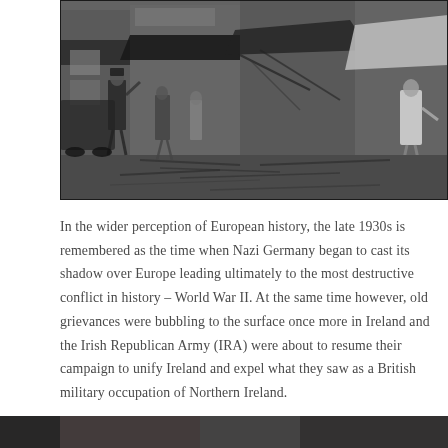[Figure (photo): Black and white photograph showing a bombed or destroyed street scene with damaged storefronts, debris on the ground, a police officer or official in uniform on the left, and a man in a white coat on the right walking through the wreckage.]
In the wider perception of European history, the late 1930s is remembered as the time when Nazi Germany began to cast its shadow over Europe leading ultimately to the most destructive conflict in history – World War II. At the same time however, old grievances were bubbling to the surface once more in Ireland and the Irish Republican Army (IRA) were about to resume their campaign to unify Ireland and expel what they saw as a British military occupation of Northern Ireland.
[Figure (photo): Partial black and white photograph visible at the bottom edge of the page.]